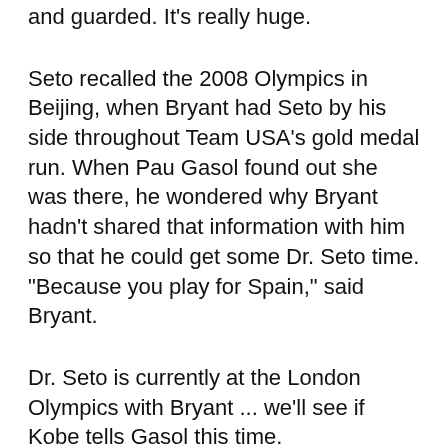and guarded. It's really huge.
Seto recalled the 2008 Olympics in Beijing, when Bryant had Seto by his side throughout Team USA's gold medal run. When Pau Gasol found out she was there, he wondered why Bryant hadn't shared that information with him so that he could get some Dr. Seto time. "Because you play for Spain," said Bryant.
Dr. Seto is currently at the London Olympics with Bryant ... we'll see if Kobe tells Gasol this time.